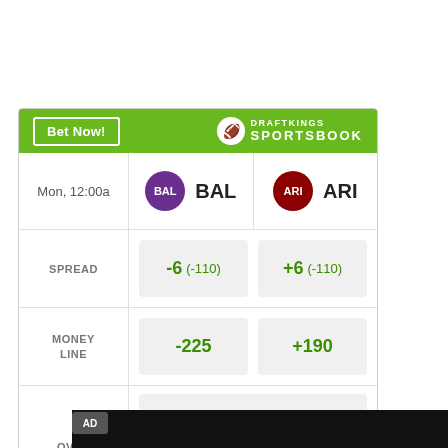[Figure (infographic): DraftKings Sportsbook betting odds widget showing BAL vs ARI matchup with spread, money line, and over/under odds]
AD